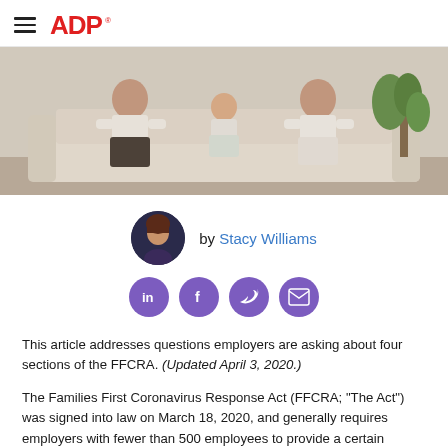ADP
[Figure (photo): Family sitting on a couch together, parents and child, indoor setting with plant in background]
by Stacy Williams
[Figure (infographic): Social sharing icons: LinkedIn, Facebook, Twitter, Email — purple circular buttons]
This article addresses questions employers are asking about four sections of the FFCRA. (Updated April 3, 2020.)
The Families First Coronavirus Response Act (FFCRA; "The Act") was signed into law on March 18, 2020, and generally requires employers with fewer than 500 employees to provide a certain amount of paid